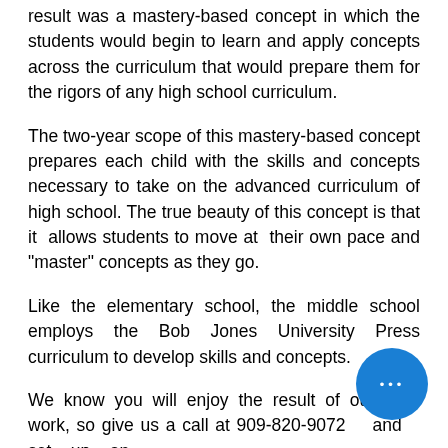result was a mastery-based concept in which the students would begin to learn and apply concepts across the curriculum that would prepare them for the rigors of any high school curriculum.
The two-year scope of this mastery-based concept prepares each child with the skills and concepts necessary to take on the advanced curriculum of high school. The true beauty of this concept is that it allows students to move at their own pace and "master" concepts as they go.
Like the elementary school, the middle school employs the Bob Jones University Press curriculum to develop skills and concepts.
We know you will enjoy the result of our hard work, so give us a call at 909-820-9072 and set up an